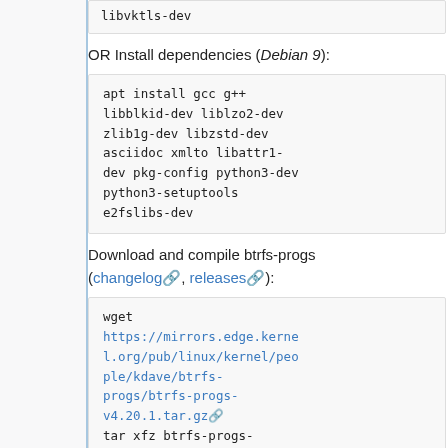libvktls-dev (truncated at top)
OR Install dependencies (Debian 9):
apt install gcc g++ libblkid-dev liblzo2-dev zlib1g-dev libzstd-dev asciidoc xmlto libattr1-dev pkg-config python3-dev python3-setuptools e2fslibs-dev
Download and compile btrfs-progs (changelog, releases):
wget https://mirrors.edge.kernel.org/pub/linux/kernel/people/kdave/btrfs-progs/btrfs-progs-v4.20.1.tar.gz tar xfz btrfs-progs-